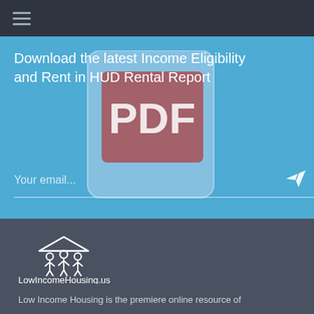≡
Download the latest Income Eligibility and Rent in HUD Rental Report
[Figure (illustration): PDF document icon — a rounded-rectangle phone/tablet outline with a mauve/rose-colored rectangle inside showing the letters PDF in large white bold text]
Your email...
[Figure (logo): LowIncomeHousing.us logo: white icon of a house roof with three human figures underneath, and text 'LowIncomeHousing.us' below]
Low Income Housing is the premiere online resource of